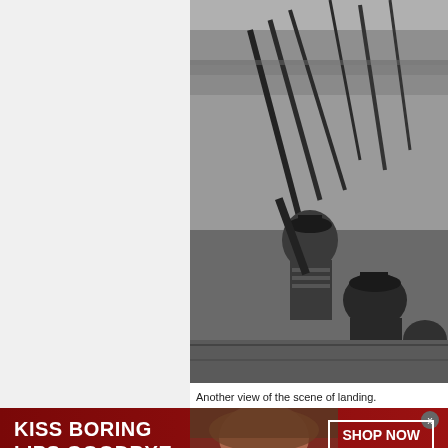[Figure (photo): Black and white historical photograph showing soldiers or military personnel at what appears to be a landing scene, with weapons visible and people in military uniforms. A crowd can be seen in the background near water.]
Another view of the scene of landing.
[Figure (infographic): Macy's advertisement banner with dark red background. Text reads 'KISS BORING LIPS GOODBYE' on left, a female model with red lips in center, and 'SHOP NOW' button with Macy's star logo on right.]